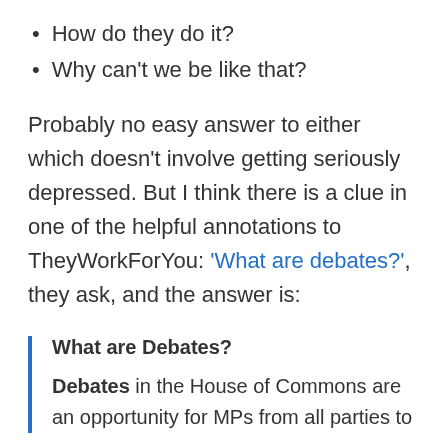How do they do it?
Why can't we be like that?
Probably no easy answer to either which doesn't involve getting seriously depressed. But I think there is a clue in one of the helpful annotations to TheyWorkForYou: 'What are debates?', they ask, and the answer is:
What are Debates?
Debates in the House of Commons are an opportunity for MPs from all parties to